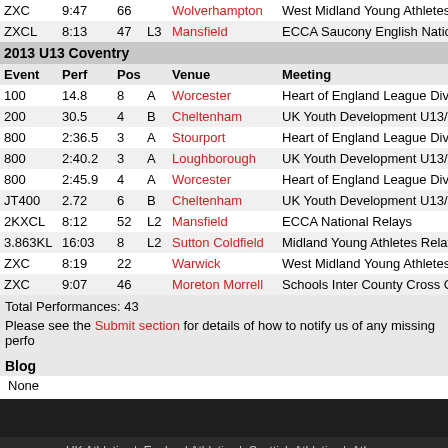| Event | Perf | Pos |  | Venue | Meeting |
| --- | --- | --- | --- | --- | --- |
| ZXC | 9:47 | 66 |  | Wolverhampton | West Midland Young Athletes' |
| ZXCL | 8:13 | 47 | L3 | Mansfield | ECCA Saucony English Nation... |
| 2013 U13 Coventry |  |  |  |  |  |
| Event | Perf | Pos |  | Venue | Meeting |
| 100 | 14.8 | 8 | A | Worcester | Heart of England League Divis... |
| 200 | 30.5 | 4 | B | Cheltenham | UK Youth Development U13/U... |
| 800 | 2:36.5 | 3 | A | Stourport | Heart of England League Divis... |
| 800 | 2:40.2 | 3 | A | Loughborough | UK Youth Development U13/U... |
| 800 | 2:45.9 | 4 | A | Worcester | Heart of England League Divis... |
| JT400 | 2.72 | 6 | B | Cheltenham | UK Youth Development U13/U... |
| 2KXCL | 8:12 | 52 | L2 | Mansfield | ECCA National Relays |
| 3.863KL | 16:03 | 8 | L2 | Sutton Coldfield | Midland Young Athletes Relays |
| ZXC | 8:19 | 22 |  | Warwick | West Midland Young Athletes' |
| ZXC | 9:07 | 46 |  | Moreton Morrell | Schools Inter County Cross Co... |
Total Performances: 43
Please see the Submit section for details of how to notify us of any missing perfo...
Blog
None
UK Athletics | England Athletics | Scottish Athletics | Ath...